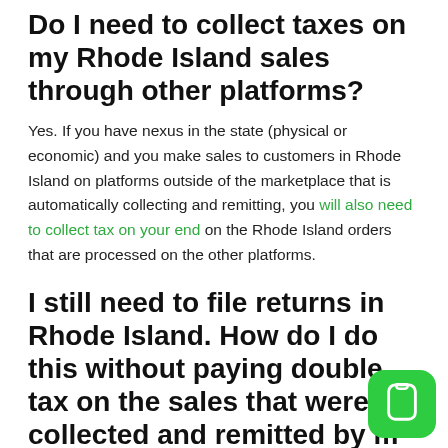Do I need to collect taxes on my Rhode Island sales through other platforms?
Yes. If you have nexus in the state (physical or economic) and you make sales to customers in Rhode Island on platforms outside of the marketplace that is automatically collecting and remitting, you will also need to collect tax on your end on the Rhode Island orders that are processed on the other platforms.
I still need to file returns in Rhode Island. How do I do this without paying double tax on the sales that were collected and remitted by my Marketplace?